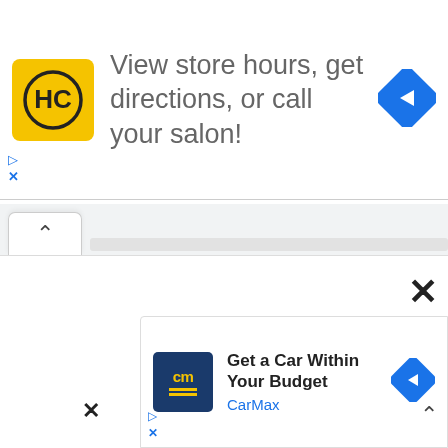[Figure (infographic): Top advertisement banner: HC (Hair Club) yellow logo on left, text 'View store hours, get directions, or call your salon!' in center, blue diamond navigation arrow icon on right. Ad controls (play triangle and X) on far left.]
[Figure (screenshot): Browser UI tab/collapse bar with upward caret button on left and horizontal scroll indicator bar.]
[Figure (infographic): Bottom advertisement banner: CarMax dark blue logo with 'cm' in yellow on left, text 'Get a Car Within Your Budget' bold and 'CarMax' in blue below, blue diamond navigation arrow icon on right. Ad controls (play triangle and X) and close X button visible.]